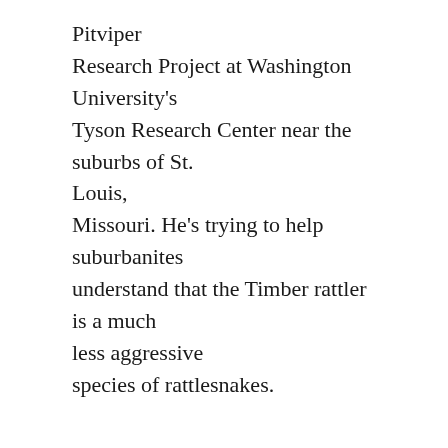Pitviper Research Project at Washington University's Tyson Research Center near the suburbs of St. Louis, Missouri. He's trying to help suburbanites understand that the Timber rattler is a much less aggressive species of rattlesnakes.
Drda and his team have implanted 26 snakes with the radio transmitters, and track them daily using a GPS system. Ryan Turnquist is one of the students tracking the snakes: